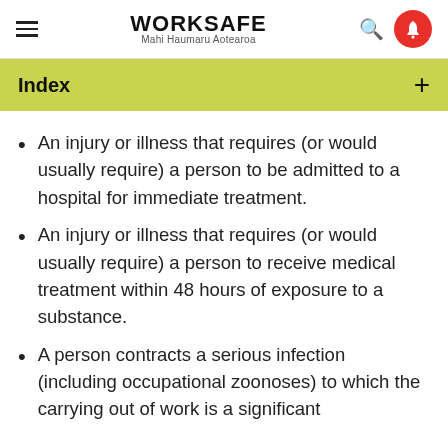WORKSAFE Mahi Haumaru Aotearoa
Index
An injury or illness that requires (or would usually require) a person to be admitted to a hospital for immediate treatment.
An injury or illness that requires (or would usually require) a person to receive medical treatment within 48 hours of exposure to a substance.
A person contracts a serious infection (including occupational zoonoses) to which the carrying out of work is a significant